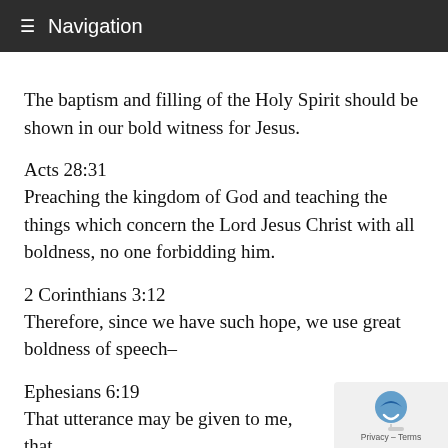Navigation
The baptism and filling of the Holy Spirit should be shown in our bold witness for Jesus.
Acts 28:31
Preaching the kingdom of God and teaching the things which concern the Lord Jesus Christ with all boldness, no one forbidding him.
2 Corinthians 3:12
Therefore, since we have such hope, we use great boldness of speech–
Ephesians 6:19
That utterance may be given to me, that
I may open my mouth boldly to make known the